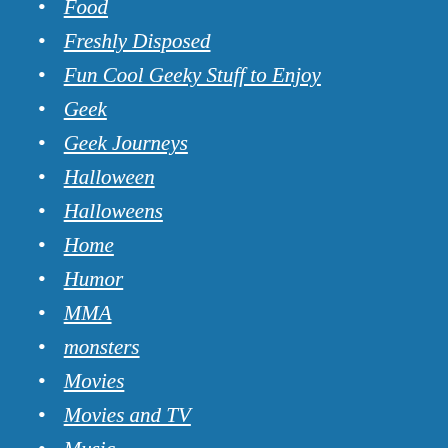Food
Freshly Disposed
Fun Cool Geeky Stuff to Enjoy
Geek
Geek Journeys
Halloween
Halloweens
Home
Humor
MMA
monsters
Movies
Movies and TV
Music
Music Reviews and Opinions
nature
Our YouTube Shows